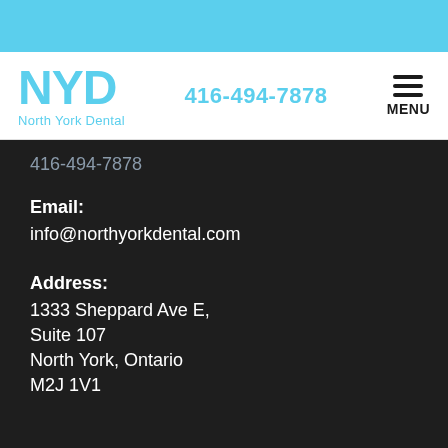NYD North York Dental | 416-494-7878 | MENU
416-494-7878
Email:
info@northyorkdental.com
Address:
1333 Sheppard Ave E, Suite 107 North York, Ontario M2J 1V1